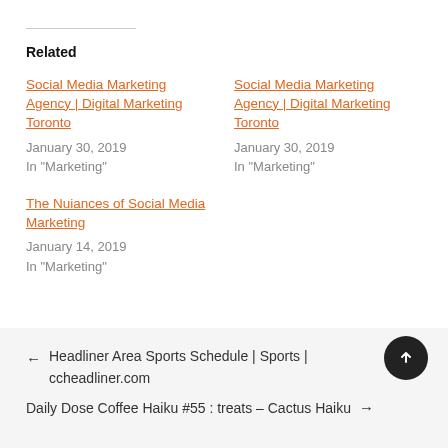Related
Social Media Marketing Agency | Digital Marketing Toronto
January 30, 2019
In "Marketing"
Social Media Marketing Agency | Digital Marketing Toronto
January 30, 2019
In "Marketing"
The Nuiances of Social Media Marketing
January 14, 2019
In "Marketing"
← Headliner Area Sports Schedule | Sports | ccheadliner.com
Daily Dose Coffee Haiku #55 : treats – Cactus Haiku →